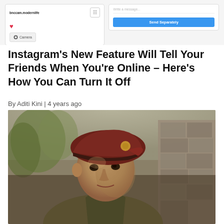[Figure (screenshot): Screenshot of Instagram interface showing camera button on left and Send Separately button on right]
Instagram's New Feature Will Tell Your Friends When You're Online – Here's How You Can Turn It Off
By Aditi Kini | 4 years ago
[Figure (photo): Photo of a soldier wearing a maroon/red beret and military uniform, looking at the camera with trees and a stone wall in the background]